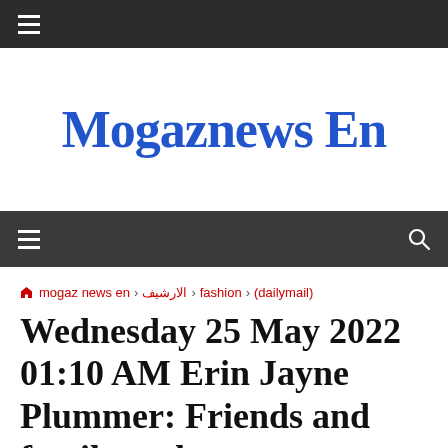≡
Mogaznews En
≡  🔍
🏠 mogaz news en › الارشيف › fashion › (dailymail)
Wednesday 25 May 2022 01:10 AM Erin Jayne Plummer: Friends and family gather at